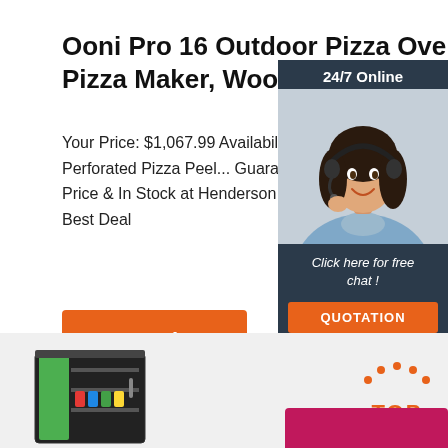Ooni Pro 16 Outdoor Pizza Oven, Pizza Maker, Wood-fired ...
Your Price: $1,067.99 Availability: In S Perforated Pizza Peel... Guaranteed L Price & In Stock at Henderson Wareh Best Deal
[Figure (photo): Customer service representative wearing headset, with 24/7 Online label and Click here for free chat! QUOTATION button]
Get Price
[Figure (photo): Gray section with partial fridge/cooler image on left, TOP logo in orange on right, pink/magenta bar at bottom right]